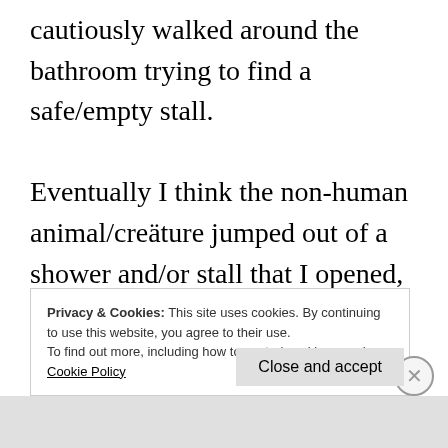cautiously walked around the bathroom trying to find a safe/empty stall.

Eventually I think the non-human animal/creäture jumped out of a shower and/or stall that I opened, I think that it looked a bit like Cow from the animated TV show Cow And Chicken, and it seemed to be a bit crazy/goofy/talkative/et cetera; and at some p... u...
Privacy & Cookies: This site uses cookies. By continuing to use this website, you agree to their use.
To find out more, including how to control cookies, see here: Cookie Policy
Close and accept